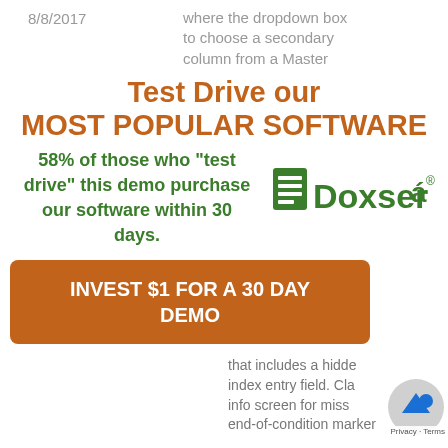8/8/2017
where the dropdown box to choose a secondary column from a Master
Test Drive our MOST POPULAR SOFTWARE
58% of those who "test drive" this demo purchase our software within 30 days.
[Figure (logo): Doxserá logo with green document icon]
INVEST $1 FOR A 30 DAY DEMO
that includes a hidden index entry field. Cla info screen for miss end-of-condition marker